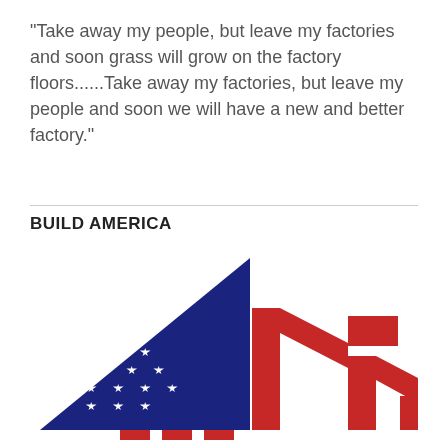“Take away my people, but leave my factories and soon grass will grow on the factory floors......Take away my factories, but leave my people and soon we will have a new and better factory.”
BUILD AMERICA
[Figure (logo): Build America logo: a house/factory silhouette combining a blue triangle (roof left side) filled with white stars like the US flag, and red vertical bars and diagonal beams forming the right side of the house structure, resembling the stripes of the American flag.]